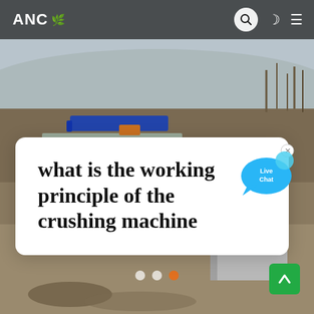ANC
[Figure (photo): Aerial view of a crushing/mining facility with industrial machinery, conveyors, rocky terrain, and industrial structures. Hazy sky and bare trees in background.]
what is the working principle of the crushing machine